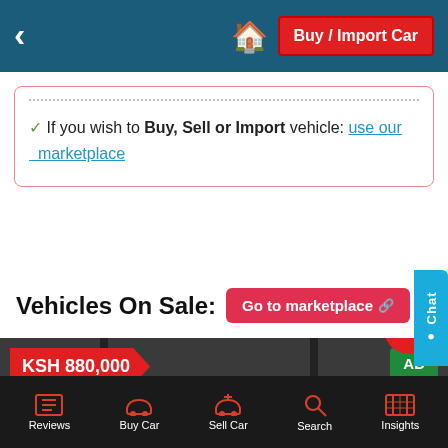< Buy / Import Car
If you wish to Buy, Sell or Import vehicle: use our marketplace
Vehicles On Sale:
Go to marketplace
[Figure (photo): White car for sale with price tag KSH 880,000 and AD badge. Red filter button at bottom right.]
Reviews | Buy Car | Sell Car | Search | Insights